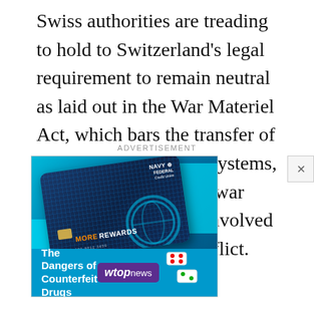Swiss authorities are treading to hold to Switzerland's legal requirement to remain neutral as laid out in the War Materiel Act, which bars the transfer of Swiss-made weapons systems, ammunition and other war material to a country involved in an international conflict.
ADVERTISEMENT
[Figure (other): Advertisement banner showing a Navy Federal Credit Union MORE REWARDS credit card on a blue background, with a secondary banner for 'The Dangers of Counterfeit Drugs' from WTOP News]